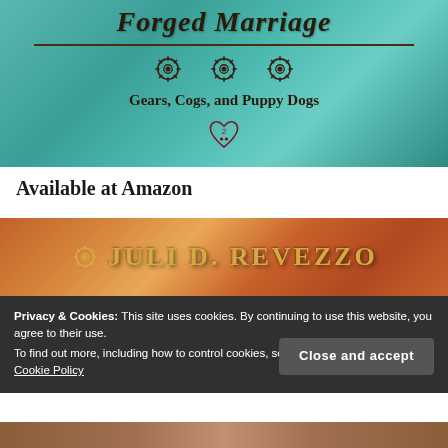[Figure (illustration): Book cover with teal/turquoise background showing steampunk gears, title text 'Forged Marriage', subtitle 'Gears, Cogs, and Puppy Dogs', and a heart badge with number 2]
Available at Amazon
[Figure (illustration): Author banner with orange/warm background showing 'Juli D. Revezzo' in gold ornate lettering with gear decoration]
Privacy & Cookies: This site uses cookies. By continuing to use this website, you agree to their use.
To find out more, including how to control cookies, see here:
Cookie Policy
Close and accept